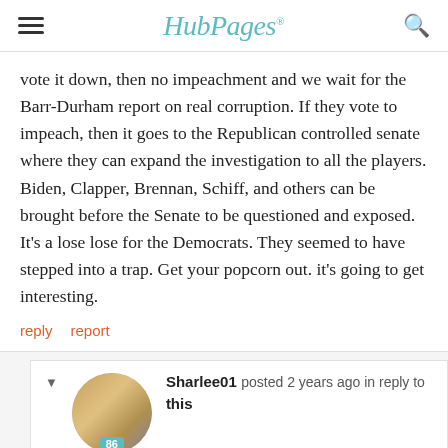HubPages
vote it down, then no impeachment and we wait for the Barr-Durham report on real corruption. If they vote to impeach, then it goes to the Republican controlled senate where they can expand the investigation to all the players. Biden, Clapper, Brennan, Schiff, and others can be brought before the Senate to be questioned and exposed. It's a lose lose for the Democrats. They seemed to have stepped into a trap. Get your popcorn out. it's going to get interesting.
reply   report
Sharlee01 posted 2 years ago in reply to this